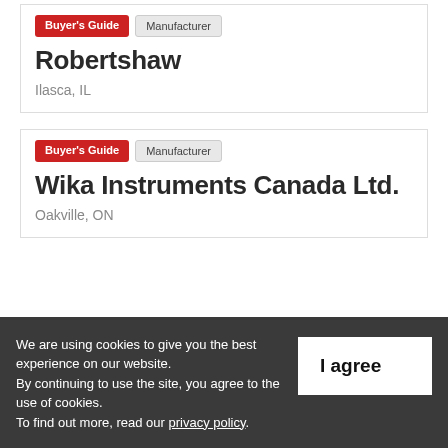Buyer's Guide | Manufacturer | Robertshaw | Ilasca, IL
Buyer's Guide | Manufacturer | Wika Instruments Canada Ltd. | Oakville, ON
We are using cookies to give you the best experience on our website. By continuing to use the site, you agree to the use of cookies. To find out more, read our privacy policy.